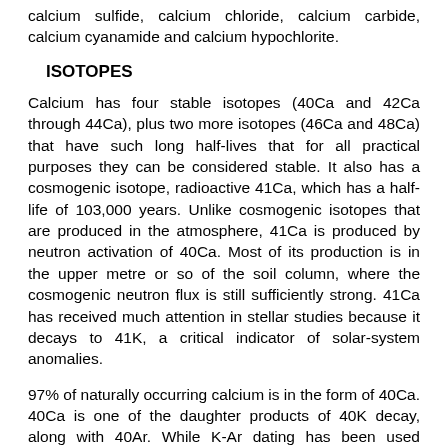calcium sulfide, calcium chloride, calcium carbide, calcium cyanamide and calcium hypochlorite.
ISOTOPES
Calcium has four stable isotopes (40Ca and 42Ca through 44Ca), plus two more isotopes (46Ca and 48Ca) that have such long half-lives that for all practical purposes they can be considered stable. It also has a cosmogenic isotope, radioactive 41Ca, which has a half-life of 103,000 years. Unlike cosmogenic isotopes that are produced in the atmosphere, 41Ca is produced by neutron activation of 40Ca. Most of its production is in the upper metre or so of the soil column, where the cosmogenic neutron flux is still sufficiently strong. 41Ca has received much attention in stellar studies because it decays to 41K, a critical indicator of solar-system anomalies.
97% of naturally occurring calcium is in the form of 40Ca. 40Ca is one of the daughter products of 40K decay, along with 40Ar. While K-Ar dating has been used extensively in the geological sciences, the prevalence of 40Ca in nature has impeded its use in dating. Techniques using mass spectrometry and a double spike